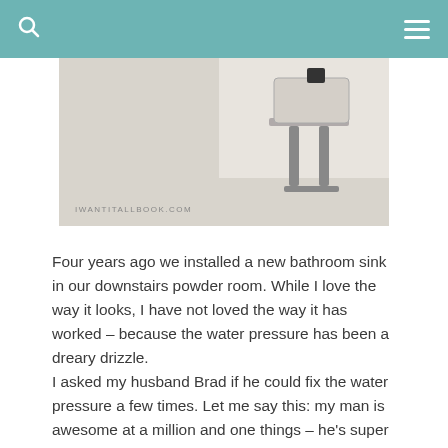[Figure (photo): Partial view of a bathroom area with a chair visible, watermarked with IWANTITALLBOOK.COM]
Four years ago we installed a new bathroom sink in our downstairs powder room. While I love the way it looks, I have not loved the way it has worked – because the water pressure has been a dreary drizzle.
I asked my husband Brad if he could fix the water pressure a few times. Let me say this: my man is awesome at a million and one things – he's super smart and awesome